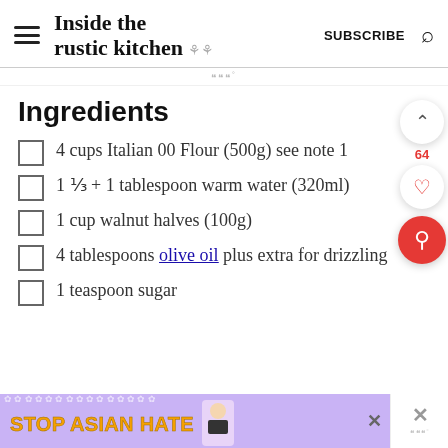Inside the rustic kitchen — SUBSCRIBE
Ingredients
4 cups Italian 00 Flour (500g) see note 1
1 ⅓ + 1 tablespoon warm water (320ml)
1 cup walnut halves (100g)
4 tablespoons olive oil plus extra for drizzling
1 teaspoon sugar
[Figure (infographic): Stop Asian Hate advertisement banner at bottom of page with purple floral background and cartoon figure]